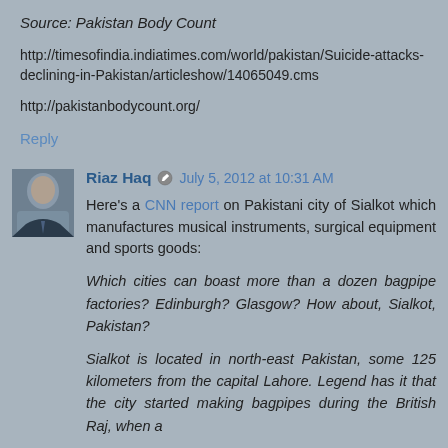Source: Pakistan Body Count
http://timesofindia.indiatimes.com/world/pakistan/Suicide-attacks-declining-in-Pakistan/articleshow/14065049.cms
http://pakistanbodycount.org/
Reply
Riaz Haq  July 5, 2012 at 10:31 AM
Here's a CNN report on Pakistani city of Sialkot which manufactures musical instruments, surgical equipment and sports goods:
Which cities can boast more than a dozen bagpipe factories? Edinburgh? Glasgow? How about, Sialkot, Pakistan?
Sialkot is located in north-east Pakistan, some 125 kilometers from the capital Lahore. Legend has it that the city started making bagpipes during the British Raj, when a